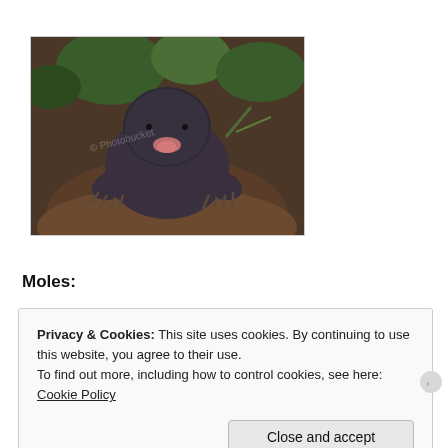[Figure (photo): A mole emerging from soil, with dark fur, pink snout, and large clawed front paws, surrounded by dirt and grass. Photobucket watermark visible.]
Moles:
Privacy & Cookies: This site uses cookies. By continuing to use this website, you agree to their use.
To find out more, including how to control cookies, see here: Cookie Policy
Close and accept